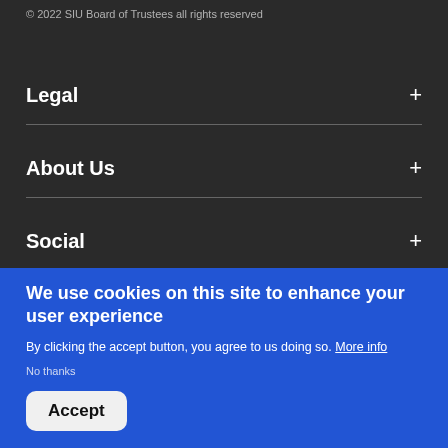© 2022 SIU Board of Trustees all rights reserved
Legal +
About Us +
Social +
We use cookies on this site to enhance your user experience
By clicking the accept button, you agree to us doing so. More info
No thanks
Accept